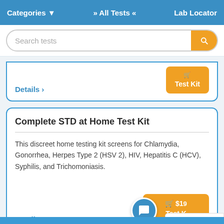Categories ▾   » All Tests «   Lab Locator
Search tests
Details ›
Test Kit
Complete STD at Home Test Kit
This discreet home testing kit screens for Chlamydia, Gonorrhea, Herpes Type 2 (HSV 2), HIV, Hepatitis C (HCV), Syphilis, and Trichomoniasis.
Details ›
Test Kit
[Figure (screenshot): TrustedSite certified secure badge in bottom right corner]
[Figure (other): Chat bubble icon overlay]